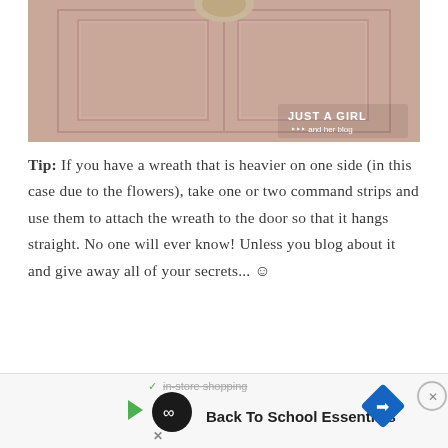[Figure (photo): Close-up of a pink/mauve painted door with panel molding detail, and a wreath partially visible at top center. Watermark in lower right reads 'JUST A GIRL and her blog' with arrow logo.]
Tip: If you have a wreath that is heavier on one side (in this case due to the flowers), take one or two command strips and use them to attach the wreath to the door so that it hangs straight. No one will ever know! Unless you blog about it and give away all of your secrets... ☺
[Figure (screenshot): Advertisement bar at bottom: shows 'in-store shopping' text crossed out with checkmark, a black circular logo with infinity symbol, a green play arrow, an X button, 'Back To School Essentials' text, a blue diamond navigation arrow, and a circular close button with X.]